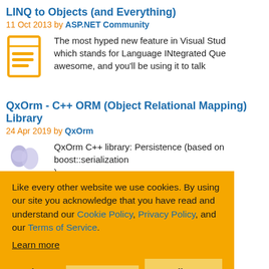LINQ to Objects (and Everything)
11 Oct 2013 by ASP.NET Community
The most hyped new feature in Visual Stud... which stands for Language INtegrated Que... awesome, and you'll be using it to talk
QxOrm - C++ ORM (Object Relational Mapping) Library
24 Apr 2019 by QxOrm
QxOrm C++ library: Persistence (based on boost::serialization )
Like every other website we use cookies. By using our site you acknowledge that you have read and understand our Cookie Policy, Privacy Policy, and our Terms of Service. Learn more
for complete datab... s